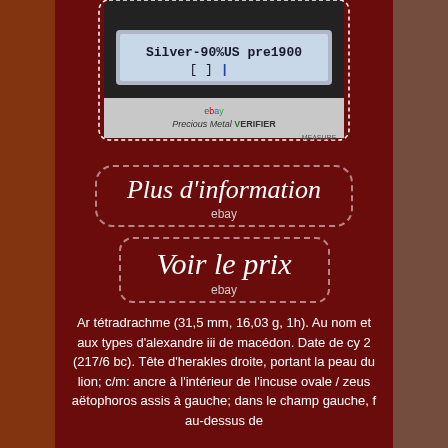[Figure (screenshot): Photo of a Precious Metal Verifier device screen displaying 'Silver-90%US pre1900' with a bar indicator. The device screen shows LCD readout. Brand label reads 'Precious Metal VERIFIER' with ebay logo. Dotted white border around the device image.]
[Figure (infographic): Rounded dashed-border button with italic white text 'Plus d'information' and 'ebay' label below.]
[Figure (infographic): Rounded dashed-border button with italic white text 'Voir le prix' and 'ebay' label below.]
Ar tétradrachme (31,5 mm, 16,03 g, 1h). Au nom et aux types d'alexandre iii de macédon. Date de cy 2 (217/6 bc). Tête d'herakles droite, portant la peau du lion; c/m: ancre à l'intérieur de l'incuse ovale / zeus aëtophoros assis à gauche; dans le champ gauche, f au-dessus de